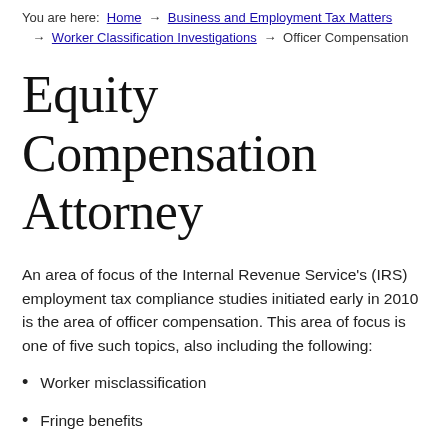You are here: Home → Business and Employment Tax Matters → Worker Classification Investigations → Officer Compensation
Equity Compensation Attorney
An area of focus of the Internal Revenue Service's (IRS) employment tax compliance studies initiated early in 2010 is the area of officer compensation. This area of focus is one of five such topics, also including the following:
Worker misclassification
Fringe benefits